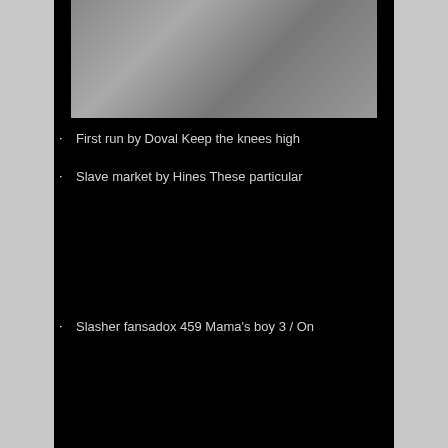[Figure (illustration): Anime/illustration style image showing a character, partially visible at the top of the page]
First run by Doval Keep the knees high
Slave market by Hines These particular
Slasher fansadox 459 Mama's boy 3 / On